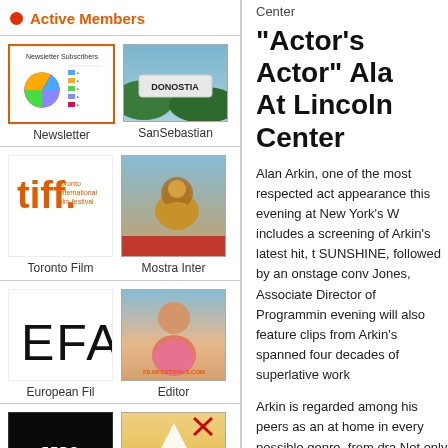Active Members
[Figure (photo): Newsletter thumbnail - pie chart image]
Newsletter
[Figure (photo): San Sebastian sign photo]
SanSebastian
[Figure (logo): Toronto International Film Festival logo - tiff.]
Toronto Film
[Figure (photo): Mostra Inter photo - lion statue]
Mostra Inter
[Figure (logo): EFA - European Film Academy logo letters]
European Fil
[Figure (photo): Editor photo - person with FILMFESTIVALS.COM watermark]
Editor
[Figure (photo): Zero Gravity dark movie thumbnail]
[Figure (photo): Origami in the Garden book/poster thumbnail]
Center
"Actor's Actor" Ala At Lincoln Center
Alan Arkin, one of the most respected act appearance this evening at New York's W includes a screening of Arkin's latest hit, t SUNSHINE, followed by an onstage conv Jones, Associate Director of Programmin evening will also feature clips from Arkin's spanned four decades of superlative work
Arkin is regarded among his peers as an at home in every possible genre, from dra Not only is his film resume first rate, but h which includes his sons Adam Arkin, Matt
Arkin pere is a native New Yorker, who be group The Tarriers, before finding his way Broadway debut as a member of the famo THE SECOND CITY (1961), which led to smash comedy ENTER LAUGHING (196 Award. He cemented his Broadway crede playwright Murray Schisgal's anarchist ro a triangle with Peter Falk and Elaine May